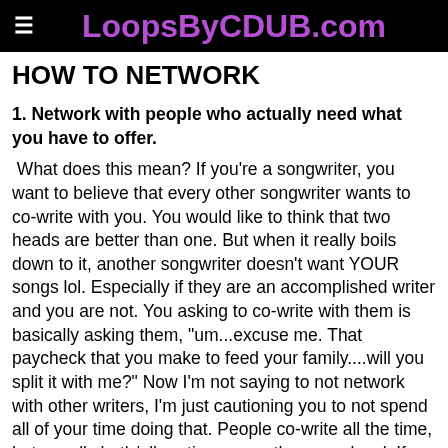LoopsByCDUB.com
HOW TO NETWORK
1. Network with people who actually need what you have to offer.
What does this mean? If you're a songwriter, you want to believe that every other songwriter wants to co-write with you. You would like to think that two heads are better than one. But when it really boils down to it, another songwriter doesn't want YOUR songs lol. Especially if they are an accomplished writer and you are not. You asking to co-write with them is basically asking them, "um...excuse me. That paycheck that you make to feed your family....will you split it with me?" Now I'm not saying to not network with other writers, I'm just cautioning you to not spend all of your time doing that. People co-write all the time, but usually both/all parties are on the same level. If you are an upcoming song writer,